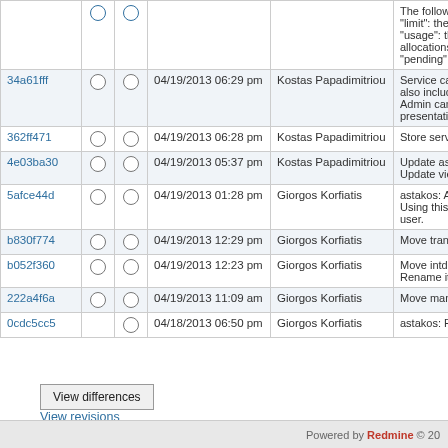| ID |  |  | Date | Author | Comment |
| --- | --- | --- | --- | --- | --- |
|  |  |  |  |  | The following "limit": the q "usage": the allocations) "pending": t |
| 34a61fff |  |  | 04/19/2013 06:29 pm | Kostas Papadimitriou | Service cata also include Admin can u presentation |
| 362ff471 |  |  | 04/19/2013 06:28 pm | Kostas Papadimitriou | Store servic |
| 4e03ba30 |  |  | 04/19/2013 05:37 pm | Kostas Papadimitriou | Update asta Update view |
| 5afce44d |  |  | 04/19/2013 01:28 pm | Giorgos Korfiatis | astakos: Ad Using this p user. |
| b830f774 |  |  | 04/19/2013 12:29 pm | Giorgos Korfiatis | Move transa |
| b052f360 |  |  | 04/19/2013 12:23 pm | Giorgos Korfiatis | Move intdec Rename it to |
| 222a4f6a |  |  | 04/19/2013 11:09 am | Giorgos Korfiatis | Move mana |
| 0cdc5cc5 |  |  | 04/18/2013 06:50 pm | Giorgos Korfiatis | astakos: Re |
View differences
View revisions
Powered by Redmine © 20